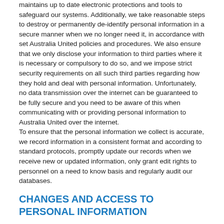maintains up to date electronic protections and tools to safeguard our systems. Additionally, we take reasonable steps to destroy or permanently de-identify personal information in a secure manner when we no longer need it, in accordance with set Australia United policies and procedures. We also ensure that we only disclose your information to third parties where it is necessary or compulsory to do so, and we impose strict security requirements on all such third parties regarding how they hold and deal with personal information. Unfortunately, no data transmission over the internet can be guaranteed to be fully secure and you need to be aware of this when communicating with or providing personal information to Australia United over the internet. To ensure that the personal information we collect is accurate, we record information in a consistent format and according to standard protocols, promptly update our records when we receive new or updated information, only grant edit rights to personnel on a need to know basis and regularly audit our databases.
CHANGES AND ACCESS TO PERSONAL INFORMATION
If you want to:
know what personal information Australia United holds about you or gain access to this personal information;
update or correct any personal information Australia United